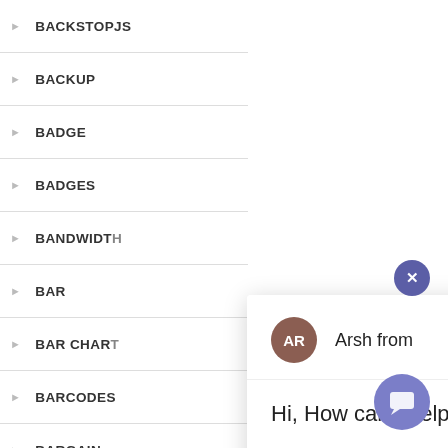BACKSTOPJS
BACKUP
BADGE
BADGES
BANDWIDTH
BAR
BAR CHART
BARCODES
BARGAIN
[Figure (screenshot): Chat popup widget showing avatar with initials AR for agent Arsh from, message 'Hi, How can I help you?', and a text input area with placeholder 'Type your message' and a send arrow button. A close X button appears at the top right of the popup and a purple chat launcher button is at the bottom right.]